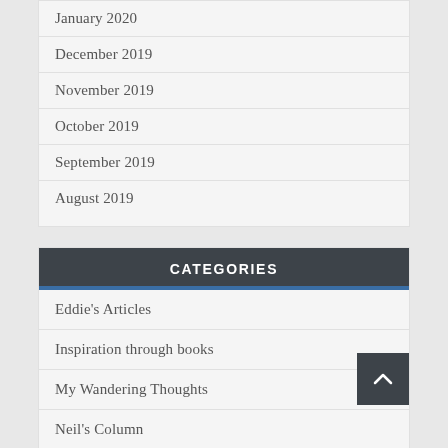January 2020
December 2019
November 2019
October 2019
September 2019
August 2019
CATEGORIES
Eddie's Articles
Inspiration through books
My Wandering Thoughts
Neil's Column